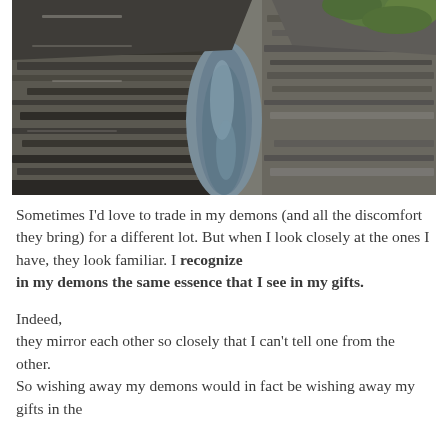[Figure (photo): Aerial or elevated view of a rocky gorge with dark layered basalt or shale rocks and a calm narrow stream or creek running between them, with green vegetation visible in the upper right corner. Daytime outdoor photograph.]
Sometimes I'd love to trade in my demons (and all the discomfort they bring) for a different lot. But when I look closely at the ones I have, they look familiar. I recognize in my demons the same essence that I see in my gifts.

Indeed, they mirror each other so closely that I can't tell one from the other. So wishing away my demons would in fact be wishing away my gifts in the